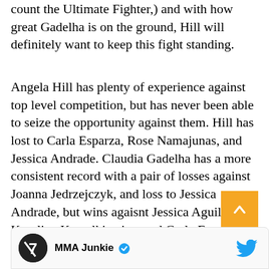count the Ultimate Fighter,) and with how great Gadelha is on the ground, Hill will definitely want to keep this fight standing.
Angela Hill has plenty of experience against top level competition, but has never been able to seize the opportunity against them. Hill has lost to Carla Esparza, Rose Namajunas, and Jessica Andrade. Claudia Gadelha has a more consistent record with a pair of losses against Joanna Jedrzejczyk, and loss to Jessica Andrade, but wins agaisnt Jessica Aguilar, Karolina Kowalkiewicz, and Carla Esparza as well. Gadelha has had mixed success in her recent outings, while Hill was won her last 3 fights, so it'll be interesting to see how momentum matches up against skill.
MMA Junkie